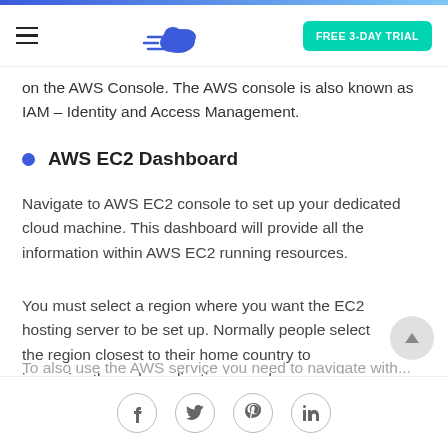FREE 3-DAY TRIAL
on the AWS Console. The AWS console is also known as IAM – Identity and Access Management.
AWS EC2 Dashboard
Navigate to AWS EC2 console to set up your dedicated cloud machine. This dashboard will provide all the information within AWS EC2 running resources.
You must select a region where you want the EC2 hosting server to be set up. Normally people select the region closest to their home country to improvise the web application speed.
Social icons: Facebook, Twitter, Pinterest, LinkedIn